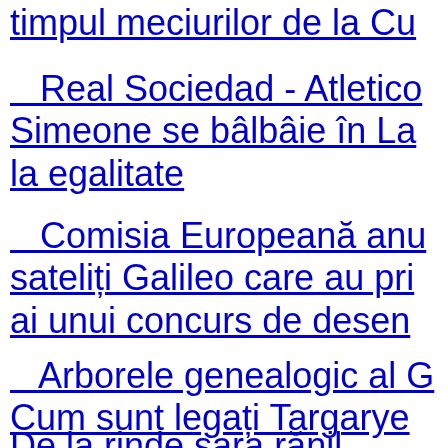timpul meciurilor de la Cu
Real Sociedad - Atletico - Simeone se bâlbâie în La - la egalitate
Comisia Europeană anu - sateliți Galileo care au pri - ai unui concurs de desen
Arborele genealogic al G - Cum sunt legați Targarye
De la rinde sara rănil...